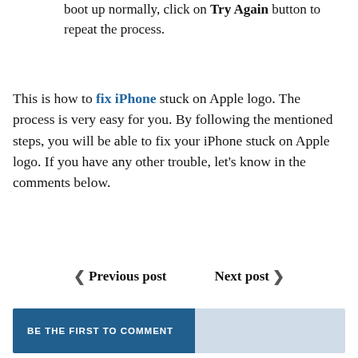boot up normally, click on Try Again button to repeat the process.
This is how to fix iPhone stuck on Apple logo. The process is very easy for you. By following the mentioned steps, you will be able to fix your iPhone stuck on Apple logo. If you have any other trouble, let’s know in the comments below.
‹ Previous post    Next post ›
BE THE FIRST TO COMMENT
Leave a comment